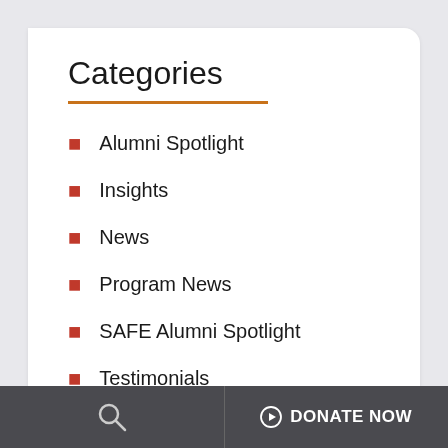Categories
Alumni Spotlight
Insights
News
Program News
SAFE Alumni Spotlight
Testimonials
DONATE NOW